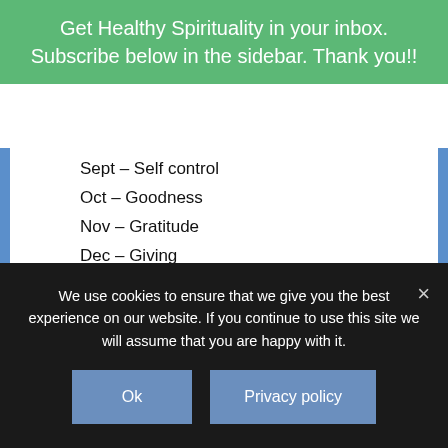Get Healthy Spirituality in your inbox. Subscribe below in the sidebar. Thank you!!
Sept – Self control
Oct – Goodness
Nov – Gratitude
Dec – Giving
Sunday – churches, paster and church staff
Monday – ministries/ non profits
Tuesday – the poor, disabled, ill, those in need and struggling
Wednesday – next generation
We use cookies to ensure that we give you the best experience on our website. If you continue to use this site we will assume that you are happy with it.
Ok | Privacy policy